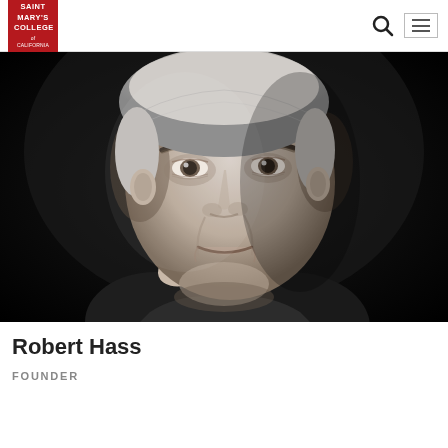Saint Mary's College of California — navigation bar with logo, search icon, and menu icon
[Figure (photo): Black and white portrait photograph of Robert Hass, an older man with white hair, resting his chin on his hand, slight smile, against a dark background.]
Robert Hass
FOUNDER